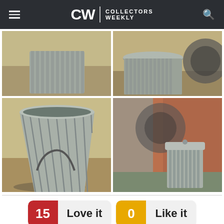CW | COLLECTORS WEEKLY
[Figure (photo): Four photos of vintage galvanized metal trash cans/garbage cans outdoors. Top left: close-up of ribbed galvanized bin on dirt. Top right: lid and side of galvanized can. Bottom left: open ribbed galvanized trash can with handle on dry ground. Bottom right: small galvanized trash can with lid near wheel and draped fabric.]
15  Love it       0  Like it
vcal loves this.
fattytail2 loves this.